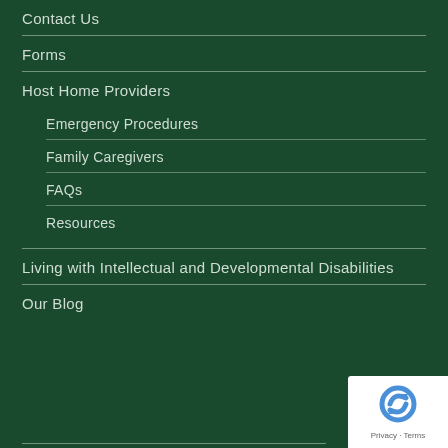Contact Us
Forms
Host Home Providers
Emergency Procedures
Family Caregivers
FAQs
Resources
Living with Intellectual and Developmental Disabilities
Our Blog
[Figure (logo): reCAPTCHA badge with Privacy and Terms links]